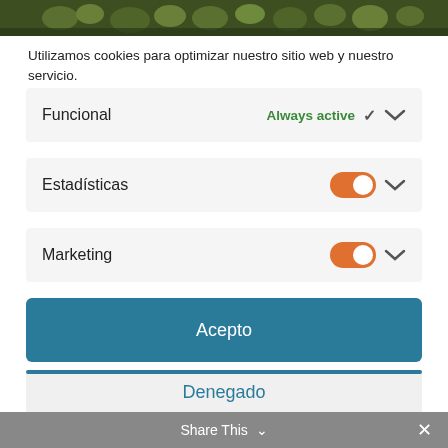[Figure (photo): Partial view of a vineyard or crop field showing green plants, visible at the very top of the page]
Utilizamos cookies para optimizar nuestro sitio web y nuestro servicio.
Funcional    Always active ∨
Estadísticas    [toggle on] ∨
Marketing    [toggle on] ∨
Acepto
Denegado
Guardar preferencias
Share This ∨  ✕